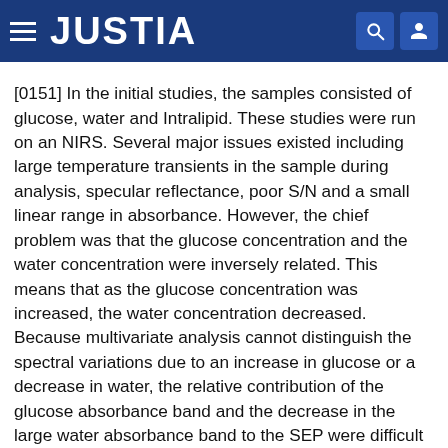JUSTIA
[0151] In the initial studies, the samples consisted of glucose, water and Intralipid. These studies were run on an NIRS. Several major issues existed including large temperature transients in the sample during analysis, specular reflectance, poor S/N and a small linear range in absorbance. However, the chief problem was that the glucose concentration and the water concentration were inversely related. This means that as the glucose concentration was increased, the water concentration decreased. Because multivariate analysis cannot distinguish the spectral variations due to an increase in glucose or a decrease in water, the relative contribution of the glucose absorbance band and the decrease in the large water absorbance band to the SEP were difficult to quantify.
[0152] In later studies, changes in instrumentation and improvements on the absorbance of the...